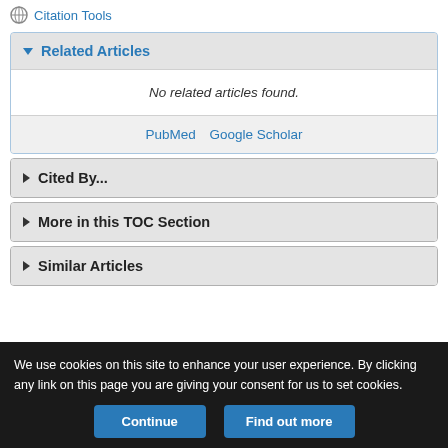Citation Tools
Related Articles
No related articles found.
PubMed   Google Scholar
Cited By...
More in this TOC Section
Similar Articles
We use cookies on this site to enhance your user experience. By clicking any link on this page you are giving your consent for us to set cookies.
Continue   Find out more